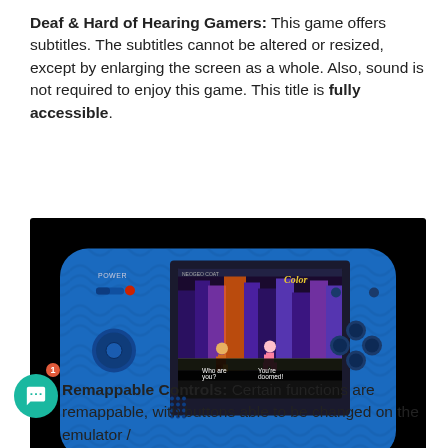Deaf & Hard of Hearing Gamers: This game offers subtitles. The subtitles cannot be altered or resized, except by enlarging the screen as a whole. Also, sound is not required to enjoy this game. This title is fully accessible.
[Figure (photo): Photo of a blue handheld gaming console (Neo Geo Pocket Color) displaying a fighting game scene with two characters. The screen shows a city background with subtitle text reading 'Who are you?' and 'You're doomed!']
Remappable Controls: Certain functions are remappable, with buttons able to be changed on the emulator /